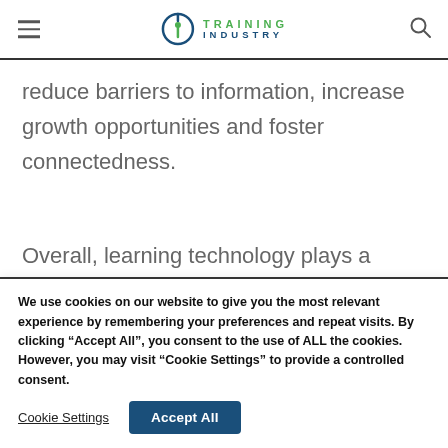Training Industry
reduce barriers to information, increase growth opportunities and foster connectedness.
Overall, learning technology plays a
We use cookies on our website to give you the most relevant experience by remembering your preferences and repeat visits. By clicking “Accept All”, you consent to the use of ALL the cookies. However, you may visit “Cookie Settings” to provide a controlled consent.
Cookie Settings  Accept All